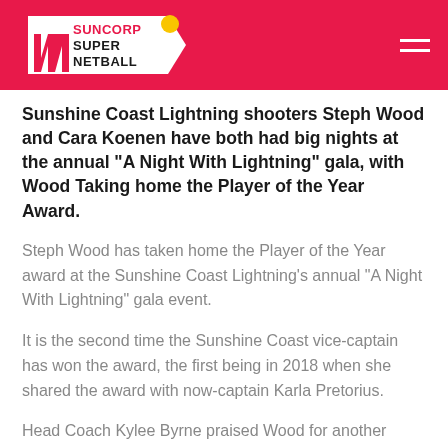Suncorp Super Netball
Sunshine Coast Lightning shooters Steph Wood and Cara Koenen have both had big nights at the annual "A Night With Lightning" gala, with Wood Taking home the Player of the Year Award.
Steph Wood has taken home the Player of the Year award at the Sunshine Coast Lightning’s annual “A Night With Lightning” gala event.
It is the second time the Sunshine Coast vice-captain has won the award, the first being in 2018 when she shared the award with now-captain Karla Pretorius.
Head Coach Kylee Byrne praised Wood for another strong season, solidifying her reputation